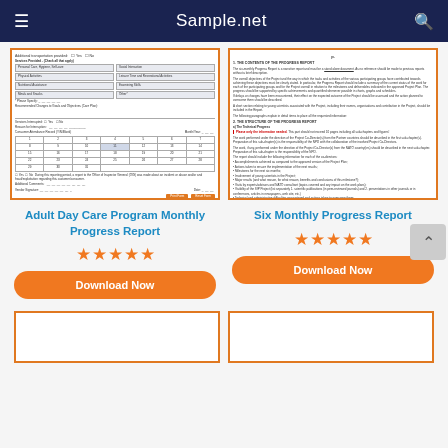Sample.net
[Figure (screenshot): Adult Day Care Program Monthly Progress Report form thumbnail]
[Figure (screenshot): Six Monthly Progress Report document thumbnail]
Adult Day Care Program Monthly Progress Report
Six Monthly Progress Report
[Figure (other): 5 orange stars rating for Adult Day Care Program Monthly Progress Report]
[Figure (other): 5 orange stars rating for Six Monthly Progress Report]
Download Now
Download Now